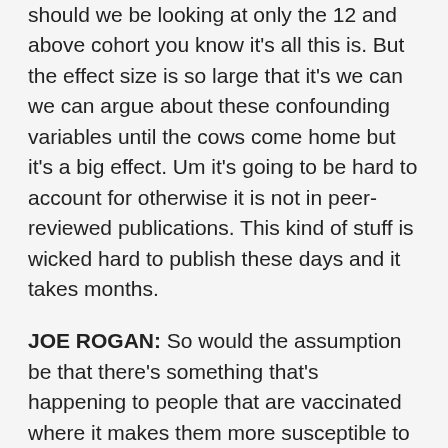should we be looking at only the 12 and above cohort you know it's all this is. But the effect size is so large that it's we can we can argue about these confounding variables until the cows come home but it's a big effect. Um it's going to be hard to account for otherwise it is not in peer-reviewed publications. This kind of stuff is wicked hard to publish these days and it takes months.
JOE ROGAN: So would the assumption be that there's something that's happening to people that are vaccinated where it makes them more susceptible to this particular strain of Covid because this particular strain of Covid, this Omicron, is a vaccine escape variant meaning that it's sort of tried to find its way around the protection of the vaccine and selected for that?